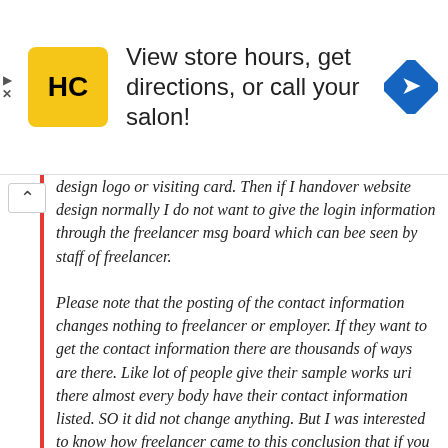[Figure (infographic): Advertisement banner with HC logo (yellow rounded square with HC text), text 'View store hours, get directions, or call your salon!', and a blue diamond-shaped navigation arrow icon on the right. Play and close (X) controls on the far left.]
design logo or visiting card. Then if I handover website design normally I do not want to give the login information through the freelancer msg board which can bee seen by staff of freelancer.

Please note that the posting of the contact information changes nothing to freelancer or employer. If they want to get the contact information there are thousands of ways are there. Like lot of people give their sample works uri there almost every body have their contact information listed. SO it did not change anything. But I was interested to know how freelancer came to this conclusion that if you stop the contact information posting here freelancer and employer will never contact and you can always milk 10% of money. Just curiosity